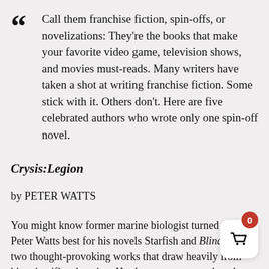Call them franchise fiction, spin-offs, or novelizations: They're the books that make your favorite video game, television shows, and movies must-reads. Many writers have taken a shot at writing franchise fiction. Some stick with it. Others don't. Here are five celebrated authors who wrote only one spin-off novel.
Crysis:Legion
by PETER WATTS
You might know former marine biologist turned writer Peter Watts best for his novels Starfish and Blindsight: two thought-provoking works that draw heavily from his scientific education. Hardcore gamers, on the other hand, will